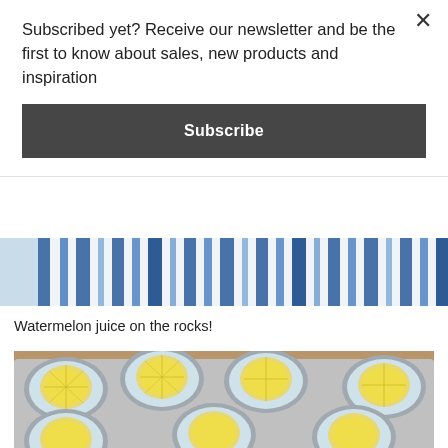Subscribed yet? Receive our newsletter and be the first to know about sales, new products and inspiration
Subscribe
[Figure (photo): Partial view of a blue and white striped towel or fabric, cropped at the top]
Watermelon juice on the rocks!
[Figure (photo): Close-up photo of a metal muffin tin filled with lemon slices submerged in water, being frozen into ice]